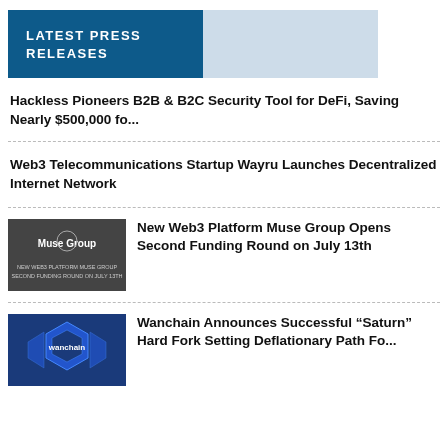LATEST PRESS RELEASES
Hackless Pioneers B2B & B2C Security Tool for DeFi, Saving Nearly $500,000 fo...
Web3 Telecommunications Startup Wayru Launches Decentralized Internet Network
[Figure (photo): Muse Group logo on dark background with text about Web3 platform second funding round]
New Web3 Platform Muse Group Opens Second Funding Round on July 13th
[Figure (photo): Wanchain logo on blue hexagonal background]
Wanchain Announces Successful “Saturn” Hard Fork Setting Deflationary Path Fo...